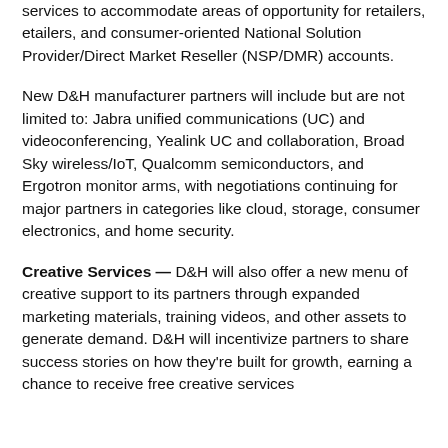services to accommodate areas of opportunity for retailers, etailers, and consumer-oriented National Solution Provider/Direct Market Reseller (NSP/DMR) accounts.
New D&H manufacturer partners will include but are not limited to: Jabra unified communications (UC) and videoconferencing, Yealink UC and collaboration, Broad Sky wireless/IoT, Qualcomm semiconductors, and Ergotron monitor arms, with negotiations continuing for major partners in categories like cloud, storage, consumer electronics, and home security.
Creative Services — D&H will also offer a new menu of creative support to its partners through expanded marketing materials, training videos, and other assets to generate demand. D&H will incentivize partners to share success stories on how they're built for growth, earning a chance to receive free creative services